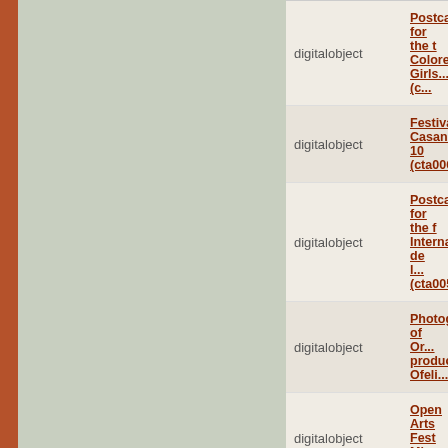| Type | Title |
| --- | --- |
| digitalobject | Postcard for the t... Colored Girls... (c... |
| digitalobject | Festival Casandra ... 10 (cta006600000... |
| digitalobject | Postcard for the f... Internacional de l... (cta0052000002) |
| digitalobject | Photograph of Or... production, Ofeli... |
| digitalobject | Open Arts Fest Mi... (cta0043000435) |
| digitalobject | Postcard for the f... Escena LGBTQ (ct... |
| digitalobject | Call for the festiva... Latinoamericano ... (cta0039000015) |
| digitalobject | Poster for the Fes... Latinoamericano ... |